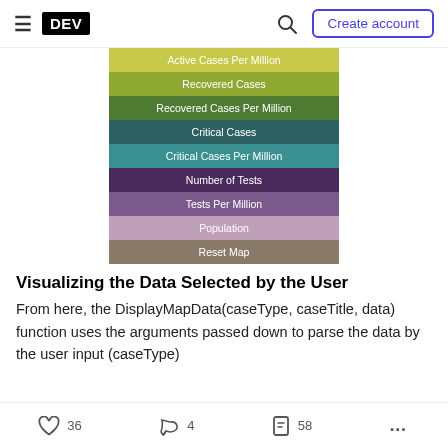DEV | Create account
[Figure (infographic): A vertical stack of colored menu buttons listing data options: Active Cases Per Million (yellow-green), Recovered Cases (olive-green), Recovered Cases Per Million (dark green), Critical Cases (teal-dark), Critical Cases Per Million (teal-light), Number of Tests (dark purple), Tests Per Million (medium purple), Population (light mauve), Reset Map (tan/khaki)]
Visualizing the Data Selected by the User
From here, the DisplayMapData(caseType, caseTitle, data) function uses the arguments passed down to parse the data by the user input (caseType)
36  4  58  ...